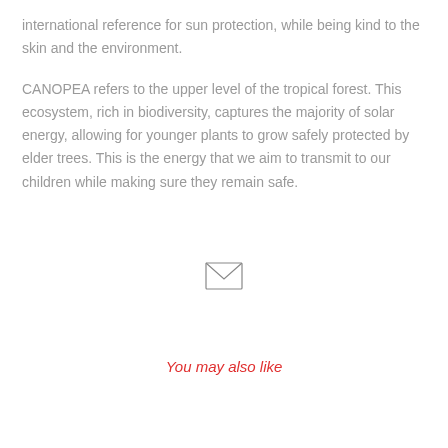international reference for sun protection, while being kind to the skin and the environment.
CANOPEA refers to the upper level of the tropical forest. This ecosystem, rich in biodiversity, captures the majority of solar energy, allowing for younger plants to grow safely protected by elder trees. This is the energy that we aim to transmit to our children while making sure they remain safe.
[Figure (illustration): Envelope icon (mail symbol) centered on the page]
You may also like